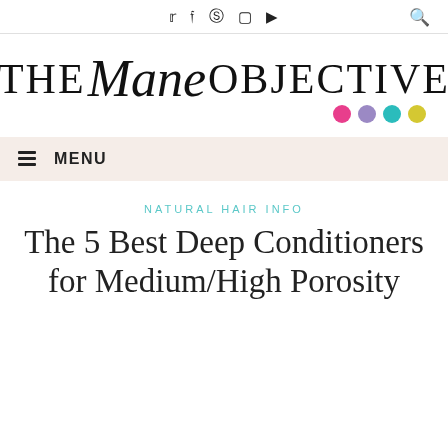Social icons: Twitter, Facebook, Pinterest, Instagram, YouTube; Search icon
[Figure (logo): The Mane Objective logo with colorful dots (pink, purple, teal, yellow)]
≡ MENU
NATURAL HAIR INFO
The 5 Best Deep Conditioners for Medium/High Porosity